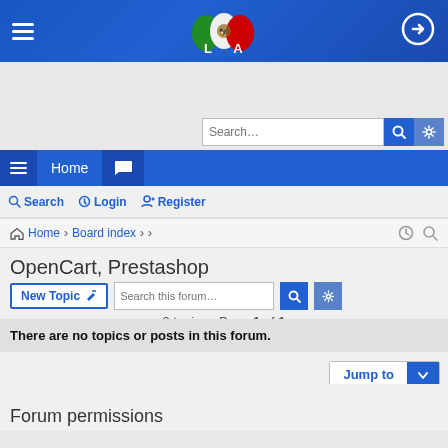[Figure (screenshot): Blue site header bar with hamburger menu, LCA logo with Mexican flag, and login/arrow icon]
[Figure (screenshot): Search bar with search input, magnifier button, and gear settings button]
[Figure (screenshot): Blue navigation bar with hamburger, Home link, and chat/message icon]
Search  Login  Register
Home › Board index › › ›
OpenCart, Prestashop
New Topic
0 topics • Page 1 of 1
There are no topics or posts in this forum.
Jump to
Forum permissions